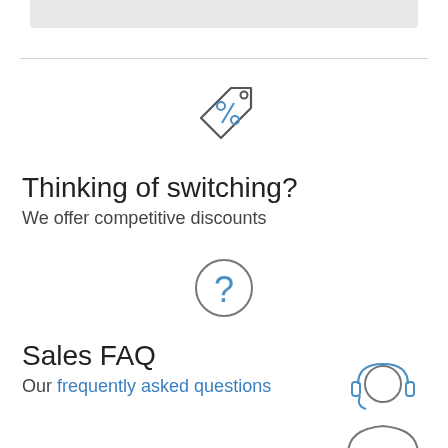[Figure (illustration): Discount/price tag icon with percent sign, drawn in gray outline style]
Thinking of switching?
We offer competitive discounts
[Figure (illustration): Question mark inside a circle, drawn in blue outline style]
Sales FAQ
Our frequently asked questions
[Figure (illustration): Customer support agent icon — person with headset, partially visible at bottom right]